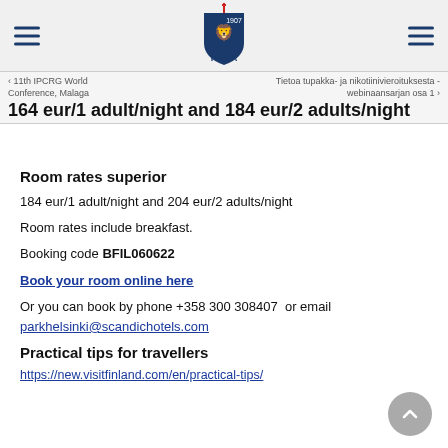FILHA logo header with hamburger menus
164 eur/1 adult/night and 184 eur/2 adults/night
11th IPCRG World Conference, Malaga | Tietoa tupakka- ja nikotiinivieroituksesta - webinaansarjan osa 1
Room rates superior
184 eur/1 adult/night and 204 eur/2 adults/night
Room rates include breakfast.
Booking code BFIL060622
Book your room online here
Or you can book by phone +358 300 308407  or email parkhelsinki@scandichotels.com
Practical tips for travellers
https://new.visitfinland.com/en/practical-tips/